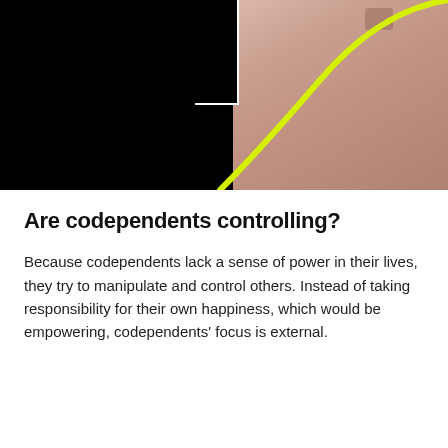[Figure (photo): A dark/black photo with a pink fabric on the right side and a neon yellow curved line running diagonally across the image.]
Are codependents controlling?
Because codependents lack a sense of power in their lives, they try to manipulate and control others. Instead of taking responsibility for their own happiness, which would be empowering, codependents' focus is external.